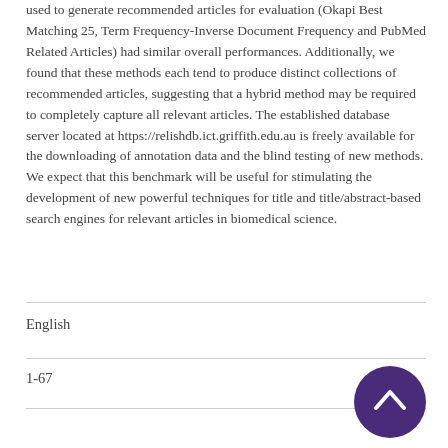used to generate recommended articles for evaluation (Okapi Best Matching 25, Term Frequency-Inverse Document Frequency and PubMed Related Articles) had similar overall performances. Additionally, we found that these methods each tend to produce distinct collections of recommended articles, suggesting that a hybrid method may be required to completely capture all relevant articles. The established database server located at https://relishdb.ict.griffith.edu.au is freely available for the downloading of annotation data and the blind testing of new methods. We expect that this benchmark will be useful for stimulating the development of new powerful techniques for title and title/abstract-based search engines for relevant articles in biomedical science.
English
1-67